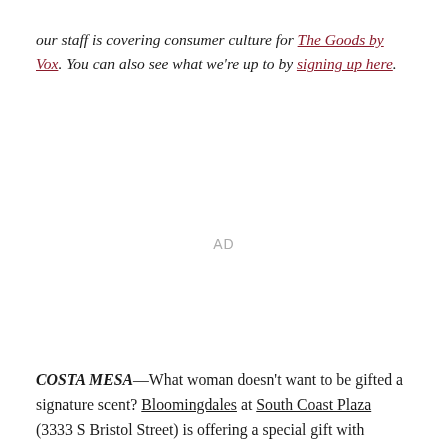our staff is covering consumer culture for The Goods by Vox. You can also see what we're up to by signing up here.
AD
COSTA MESA—What woman doesn't want to be gifted a signature scent? Bloomingdales at South Coast Plaza (3333 S Bristol Street) is offering a special gift with purchase